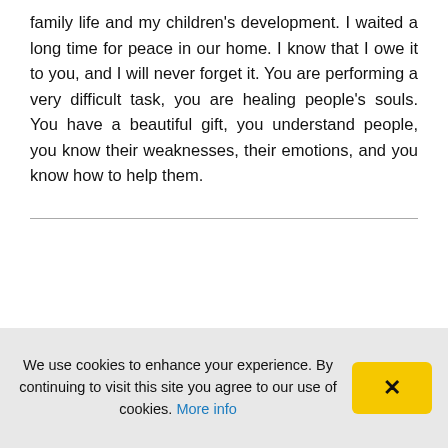family life and my children's development. I waited a long time for peace in our home. I know that I owe it to you, and I will never forget it. You are performing a very difficult task, you are healing people's souls. You have a beautiful gift, you understand people, you know their weaknesses, their emotions, and you know how to help them.
I have never before read such an interesting st...
We use cookies to enhance your experience. By continuing to visit this site you agree to our use of cookies. More info